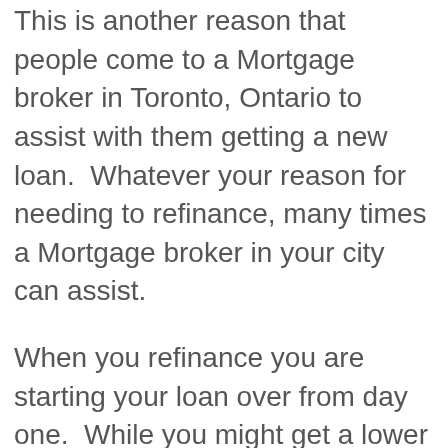This is another reason that people come to a Mortgage broker in Toronto, Ontario to assist with them getting a new loan.  Whatever your reason for needing to refinance, many times a Mortgage broker in your city can assist.
When you refinance you are starting your loan over from day one.  While you might get a lower monthly payment, you will be adding on years to your loan.  When you look at mortgage refinancing, be sure that it is the best option for you in the long run.  If you only have a few years left of your loan, then it probably is not a good idea.  The later years are putting more money towards your loan